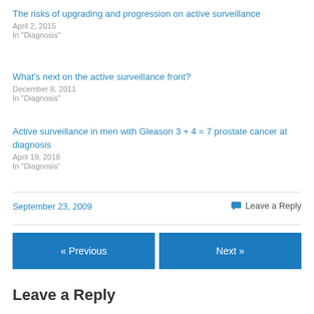The risks of upgrading and progression on active surveillance
April 2, 2015
In "Diagnosis"
What's next on the active surveillance front?
December 8, 2011
In "Diagnosis"
Active surveillance in men with Gleason 3 + 4 = 7 prostate cancer at diagnosis
April 19, 2018
In "Diagnosis"
September 23, 2009
Leave a Reply
« Previous
Next »
Leave a Reply